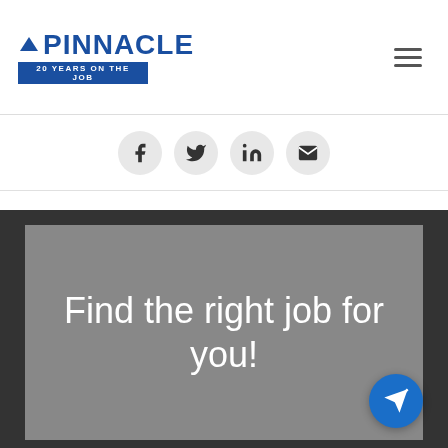[Figure (logo): Pinnacle logo with text 'PINNACLE' in blue bold font, triangle icon, and blue banner reading '20 YEARS ON THE JOB']
[Figure (infographic): Four social media sharing icons (Facebook, Twitter, LinkedIn, Email/envelope) in circular grey buttons arranged horizontally]
[Figure (infographic): Grey promotional banner with white text 'Find the right job for you!' and a blue circular send/paper-plane button in the lower right corner, on a dark grey background]